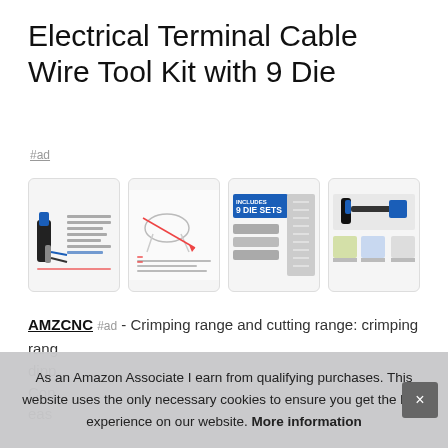Electrical Terminal Cable Wire Tool Kit with 9 Die
#ad
[Figure (photo): Four product thumbnail images: (1) crimping tool with spec sheet, (2) technical diagram of crimping tool, (3) die sets labeled INCLUDES 9 DIE SETS, (4) crimping tool and application photos]
AMZCNC #ad - Crimping range and cutting range: crimping range dipp… Con… eas…
As an Amazon Associate I earn from qualifying purchases. This website uses the only necessary cookies to ensure you get the best experience on our website. More information